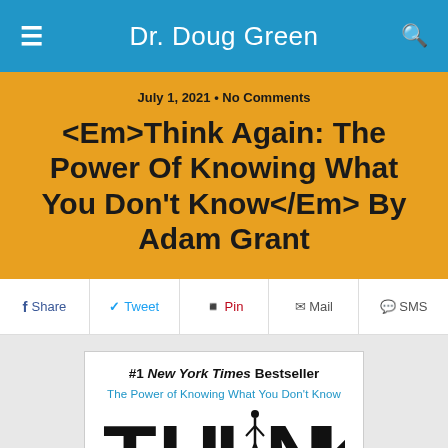Dr. Doug Green
July 1, 2021 • No Comments
<Em>Think Again: The Power Of Knowing What You Don't Know</Em> By Adam Grant
Share  Tweet  Pin  Mail  SMS
[Figure (photo): Book cover of Think Again by Adam Grant — #1 New York Times Bestseller, showing the word THINK in large bold letters with subtitle 'The Power of Knowing What You Don't Know' in blue text]